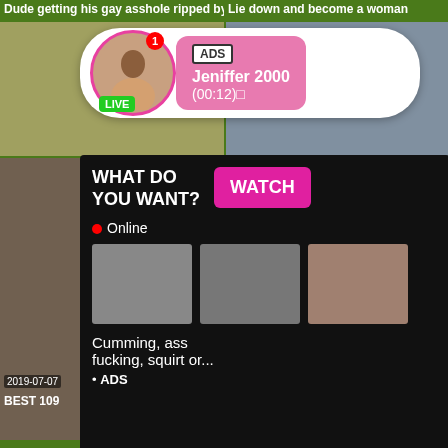Dude getting his gay asshole ripped by
Lie down and become a woman
[Figure (screenshot): Notification popup with profile photo, ADS label, name Jeniffer 2000, time (00:12), LIVE badge, pink bubble background]
[Figure (screenshot): Ad overlay panel on dark background with WHAT DO YOU WANT? text, WATCH button, Online indicator, three thumbnail images, text: Cumming, ass fucking, squirt or... • ADS]
2019-07-07
25:14
BEST 109
2019-07-12
5:29
Japanese student handjob by classmate